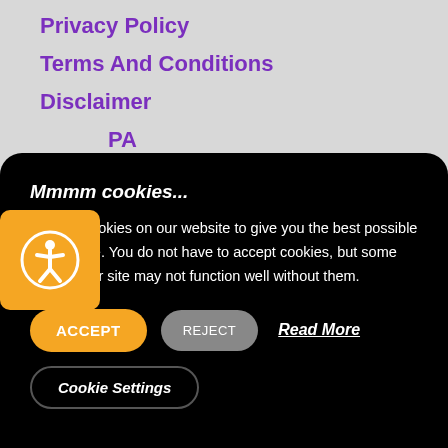Privacy Policy
Terms And Conditions
Disclaimer
PA
P
[Figure (illustration): Orange accessibility icon button with person/circle symbol]
Mmmm cookies...
We use cookies on our website to give you the best possible experience. You do not have to accept cookies, but some parts of our site may not function well without them.
ACCEPT   REJECT   Read More
Cookie Settings